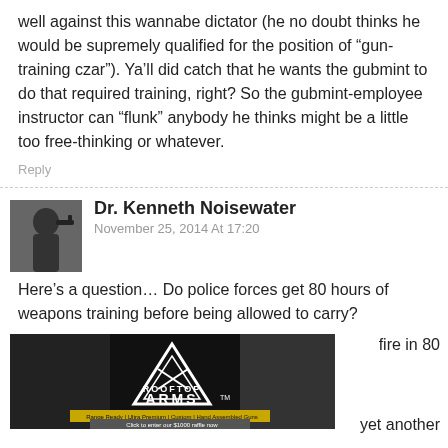well against this wannabe dictator (he no doubt thinks he would be supremely qualified for the position of “gun-training czar”). Ya’ll did catch that he wants the gubmint to do that required training, right? So the gubmint-employee instructor can “flunk” anybody he thinks might be a little too free-thinking or whatever.
Reply
Dr. Kenneth Noisewater
November 25, 2014 At 17:20
Here’s a question… Do police forces get 80 hours of weapons training before being allowed to carry?
[Figure (photo): Advertisement for Rooftop Arms - Range Ready, Ultra Premium, Custom, Hand Assembled Guns. Click to enter our $1000 raffle now. USA Made, Veteran Owned.]
fire in 80
yet another